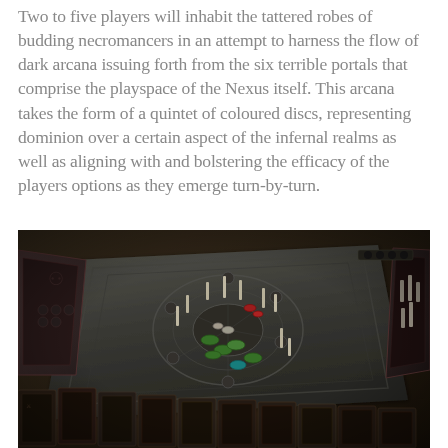Two to five players will inhabit the tattered robes of budding necromancers in an attempt to harness the flow of dark arcana issuing forth from the six terrible portals that comprise the playspace of the Nexus itself. This arcana takes the form of a quintet of coloured discs, representing dominion over a certain aspect of the infernal realms as well as aligning with and bolstering the efficacy of the players options as they emerge turn-by-turn.
[Figure (photo): Overhead angled photograph of a dark fantasy board game setup showing a grey stone-textured game board with circular portal symbols, various miniature pieces including candles and coloured discs (green, red, teal), player boards visible on the sides, and dark illustrated cards arranged at the bottom. The game appears to be set on a wooden table surface.]